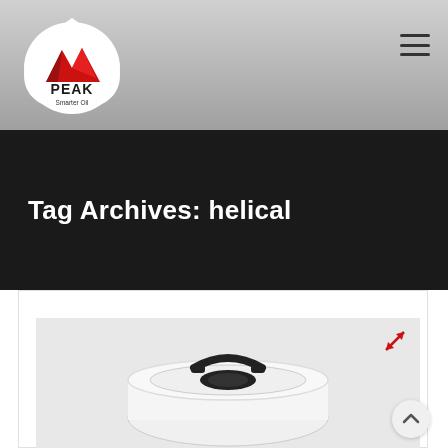[Figure (logo): PEAK Smarter Oil logo — white teardrop/shield shape with red mountain peaks graphic and PEAK text in bold black, 'Smarter Oil' subtitle below]
Tag Archives: helical
[Figure (photo): Product photo showing top view of a white cylindrical oil container/drum with a black handle and black cap/spout on a light gray background. A red expand/zoom icon appears in the upper right corner of the image.]